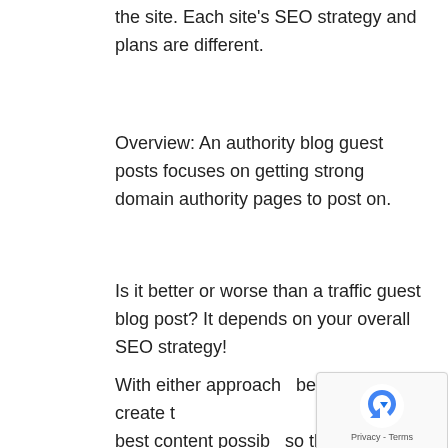the site. Each site's SEO strategy and plans are different.
Overview: An authority blog guest posts focuses on getting strong domain authority pages to post on.
Is it better or worse than a traffic guest blog post? It depends on your overall SEO strategy!
With either approach be sure to create the best content possible so that it will be a beneficial connection to the website.
[Figure (other): reCAPTCHA verification widget overlay with blue arrow logo and Privacy - Terms text]